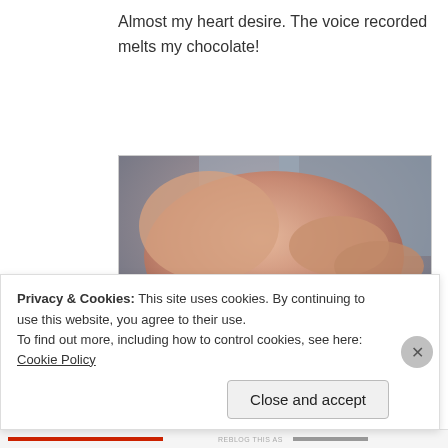Almost my heart desire. The voice recorded melts my chocolate!
[Figure (photo): A blurry close-up photo showing hands holding or touching a purple/magenta object, with a USPS mail label visible in the lower left corner and what appears to be a cardboard box in the background.]
Privacy & Cookies: This site uses cookies. By continuing to use this website, you agree to their use.
To find out more, including how to control cookies, see here: Cookie Policy
Close and accept